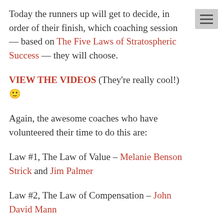Today the runners up will get to decide, in order of their finish, which coaching session — based on The Five Laws of Stratospheric Success — they will choose.
VIEW THE VIDEOS (They're really cool!) 🙂
Again, the awesome coaches who have volunteered their time to do this are:
Law #1, The Law of Value – Melanie Benson Strick and Jim Palmer
Law #2, The Law of Compensation – John David Mann
Law #3, The Law of Influence – Dondi Scumaci